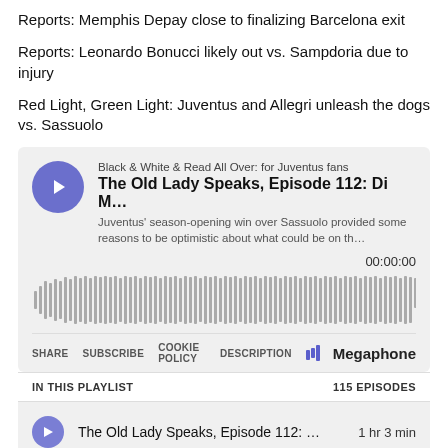Reports: Memphis Depay close to finalizing Barcelona exit
Reports: Leonardo Bonucci likely out vs. Sampdoria due to injury
Red Light, Green Light: Juventus and Allegri unleash the dogs vs. Sassuolo
[Figure (screenshot): Embedded Megaphone podcast player for 'Black & White & Read All Over: for Juventus fans' - The Old Lady Speaks, Episode 112: Di M... with waveform audio visualization, time display 00:00:00, and controls: SHARE, SUBSCRIBE, COOKIE POLICY, DESCRIPTION, Megaphone logo. Playlist section showing IN THIS PLAYLIST / 115 EPISODES and episode row: The Old Lady Speaks, Episode 112: ... 1 hr 3 min]